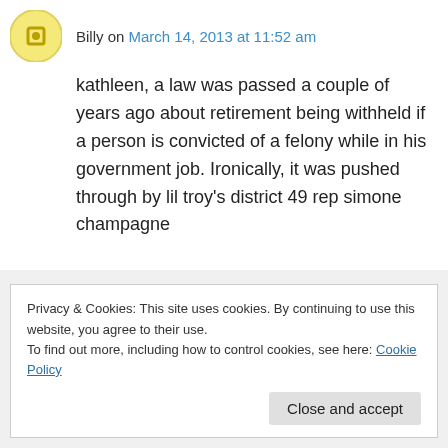Billy on March 14, 2013 at 11:52 am
kathleen, a law was passed a couple of years ago about retirement being withheld if a person is convicted of a felony while in his government job. Ironically, it was pushed through by lil troy's district 49 rep simone champagne
↳ Reply
Privacy & Cookies: This site uses cookies. By continuing to use this website, you agree to their use.
To find out more, including how to control cookies, see here: Cookie Policy
Close and accept